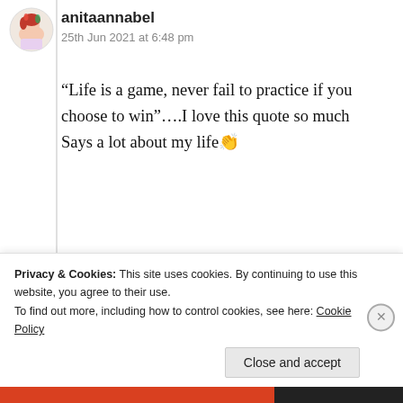[Figure (illustration): Small circular avatar image of anitaannabel — a colorful illustrated character]
anitaannabel
25th Jun 2021 at 6:48 pm
“Life is a game, never fail to practice if you choose to win”….I love this quote so much
Says a lot about my life👏
★ Liked by 3 people
Log in to Reply
Privacy & Cookies: This site uses cookies. By continuing to use this website, you agree to their use.
To find out more, including how to control cookies, see here: Cookie Policy
Close and accept